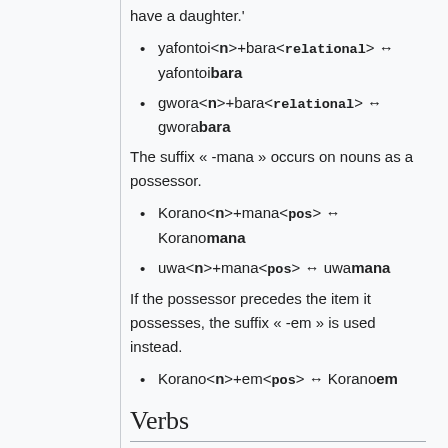have a daughter.'
yafontoi<n>+bara<relational> → yafontoibara
gwora<n>+bara<relational> → gworabara
The suffix « -mana » occurs on nouns as a possessor.
Korano<n>+mana<pos> → Koranomana
uwa<n>+mana<pos> → uwamana
If the possessor precedes the item it possesses, the suffix « -em » is used instead.
Korano<n>+em<pos> → Koranoem
Verbs
Number